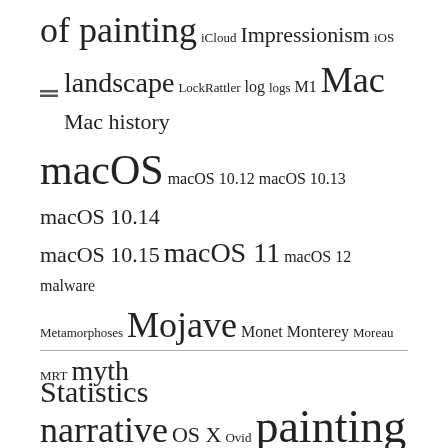of painting iCloud Impressionism iOS landscape LockRattler log logs M1 Mac Mac history macOS macOS 10.12 macOS 10.13 macOS 10.14 macOS 10.15 macOS 11 macOS 12 malware Metamorphoses Mojave Monet Monterey Moreau MRT myth narrative OS X Ovid painting Pissarro Poussin privacy realism riddle Rubens Sargent scripting security Sierra SilentKnight SSD Swift symbolism Time Machine Turner update upgrade xattr Xcode XProtect
Statistics